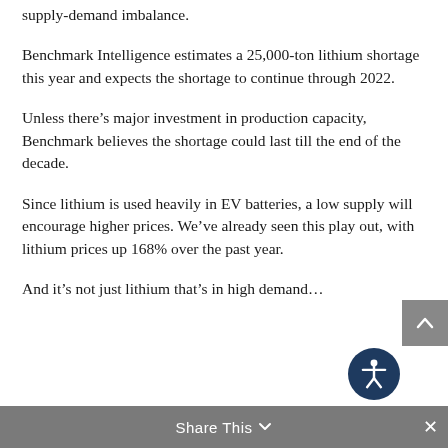supply-demand imbalance.
Benchmark Intelligence estimates a 25,000-ton lithium shortage this year and expects the shortage to continue through 2022.
Unless there’s major investment in production capacity, Benchmark believes the shortage could last till the end of the decade.
Since lithium is used heavily in EV batteries, a low supply will encourage higher prices. We’ve already seen this play out, with lithium prices up 168% over the past year.
And it’s not just lithium that’s in high demand…
Share This